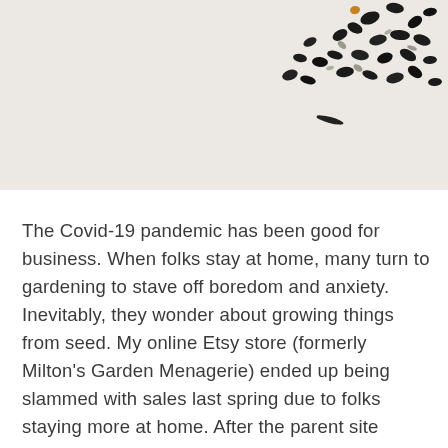[Figure (photo): Close-up photo of scattered black seeds and small dried plant fragments on a white background surface.]
The Covid-19 pandemic has been good for business. When folks stay at home, many turn to gardening to stave off boredom and anxiety. Inevitably, they wonder about growing things from seed. My online Etsy store (formerly Milton's Garden Menagerie) ended up being slammed with sales last spring due to folks staying more at home. After the parent site decided to advertise some of our shops on third-party sites for increased traffic, I ended up with 8x the usual amount of orders and actually had to shut the shop for 5 or 6 months. The experience